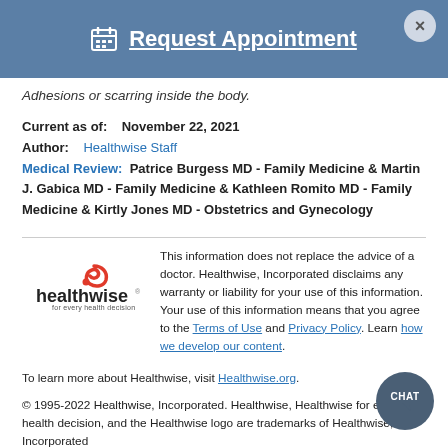Request Appointment
Adhesions or scarring inside the body.
Current as of:   November 22, 2021
Author:   Healthwise Staff
Medical Review:  Patrice Burgess MD - Family Medicine & Martin J. Gabica MD - Family Medicine & Kathleen Romito MD - Family Medicine & Kirtly Jones MD - Obstetrics and Gynecology
[Figure (logo): Healthwise logo with tagline 'for every health decision']
This information does not replace the advice of a doctor. Healthwise, Incorporated disclaims any warranty or liability for your use of this information. Your use of this information means that you agree to the Terms of Use and Privacy Policy. Learn how we develop our content.
To learn more about Healthwise, visit Healthwise.org.
© 1995-2022 Healthwise, Incorporated. Healthwise, Healthwise for every health decision, and the Healthwise logo are trademarks of Healthwise, Incorporated